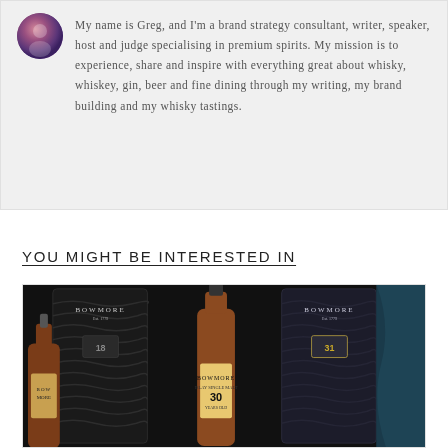My name is Greg, and I'm a brand strategy consultant, writer, speaker, host and judge specialising in premium spirits. My mission is to experience, share and inspire with everything great about whisky, whiskey, gin, beer and fine dining through my writing, my brand building and my whisky tastings.
YOU MIGHT BE INTERESTED IN
[Figure (photo): Dark product photo showing Bowmore whisky bottles and their black embossed packaging boxes with wavy pattern design, set against a dark background.]